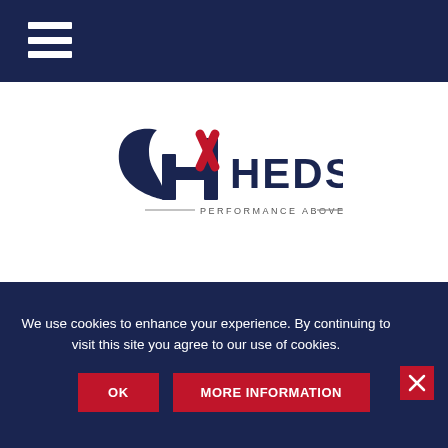Navigation bar with hamburger menu
[Figure (logo): Hedson logo with stylized H mark in dark navy and red, with tagline PERFORMANCE ABOVE ALL]
We use cookies to enhance your experience. By continuing to visit this site you agree to our use of cookies.
OK
MORE INFORMATION